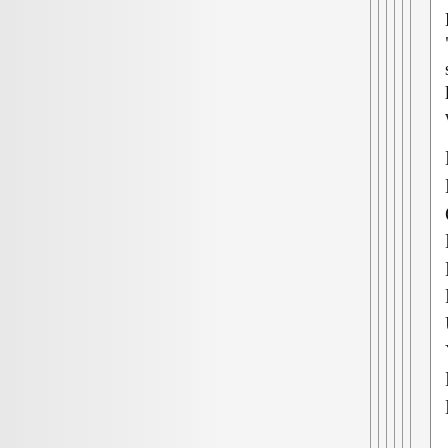Regarding the "disgusting" comment somebody made about me looking for mulitple wives:
NEWSFLASH FOR DAVIDH: MAJOR CATASTROPHIC ECONOMIC AND ECOLOGICAL PROBLEMS ARE UNFOLDING AND YOU'VE GOT YOUR PANTIES IN A BUNCH